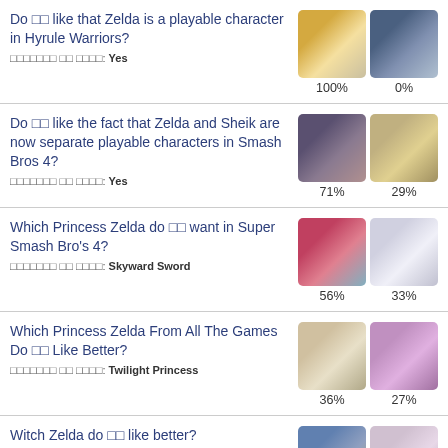Do you like that Zelda is a playable character in Hyrule Warriors? Community poll result: Yes | 100% | 0%
Do you like the fact that Zelda and Sheik are now separate playable characters in Smash Bros 4? Community poll result: Yes | 71% | 29%
Which Princess Zelda do you want in Super Smash Bro's 4? Community poll result: Skyward Sword | 56% | 33%
Which Princess Zelda From All The Games Do You Like Better? Community poll result: Twilight Princess | 36% | 27%
Witch Zelda do you like better?